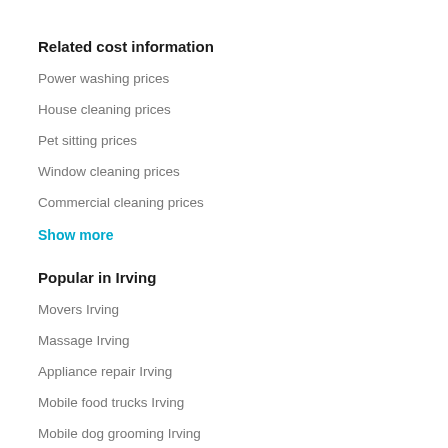Related cost information
Power washing prices
House cleaning prices
Pet sitting prices
Window cleaning prices
Commercial cleaning prices
Show more
Popular in Irving
Movers Irving
Massage Irving
Appliance repair Irving
Mobile food trucks Irving
Mobile dog grooming Irving
Show more